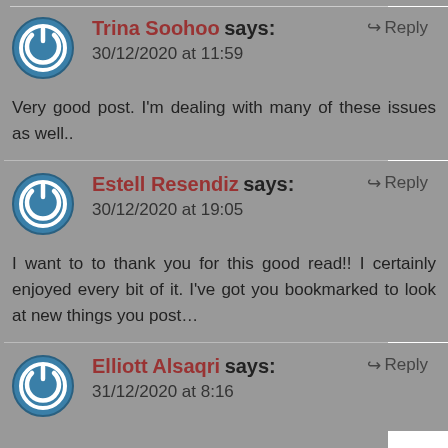Trina Soohoo says: 30/12/2020 at 11:59
Reply
Very good post. I'm dealing with many of these issues as well..
Estell Resendiz says: 30/12/2020 at 19:05
Reply
I want to to thank you for this good read!! I certainly enjoyed every bit of it. I've got you bookmarked to look at new things you post...
Elliott Alsaqri says: 31/12/2020 at 8:16
Reply